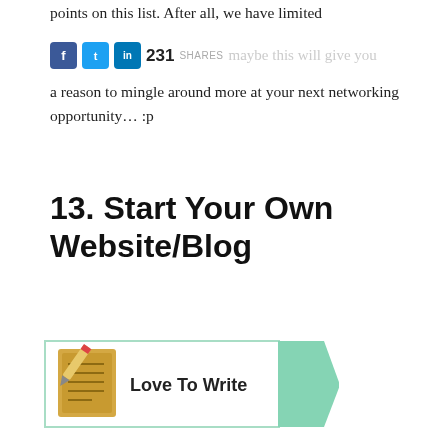points on this list. After all, we have limited
maybe this will give you a reason to mingle around more at your next networking opportunity… :p
13. Start Your Own Website/Blog
[Figure (infographic): Badge with book/pencil icon and text 'Love To Write' with teal ribbon on right side]
Are you an expert in your field? Or you've become fairly good at a hobby you are passionate about?
If you have useful information to offer to